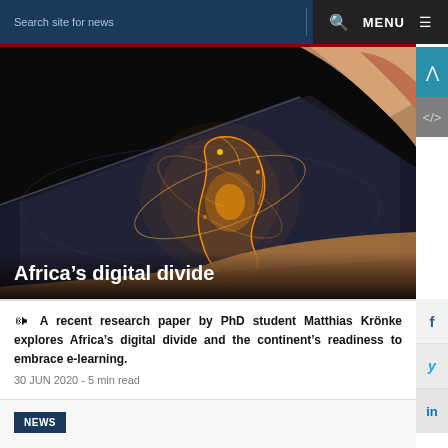Search site for news  MENU
[Figure (photo): Close-up of a hand touching a glowing holographic globe on a tablet screen against a dark background]
Africa’s digital divide
A recent research paper by PhD student Matthias Krönke explores Africa’s digital divide and the continent’s readiness to embrace e-learning.
30 JUN 2020 - 5 min read
NEWS